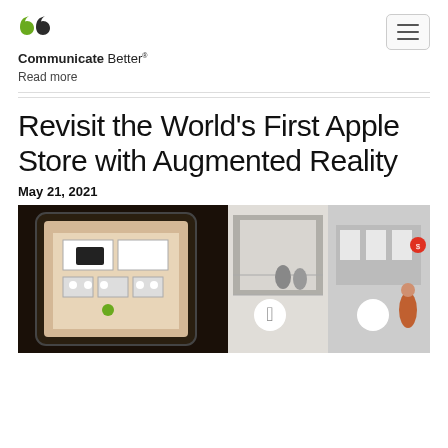Communicate Better®
Read more
Revisit the World's First Apple Store with Augmented Reality
May 21, 2021
[Figure (photo): Composite image showing an AR view of the first Apple Store layout on a tablet screen on the left, and photos of the original Apple Store interior with customers and Apple logos on the right.]